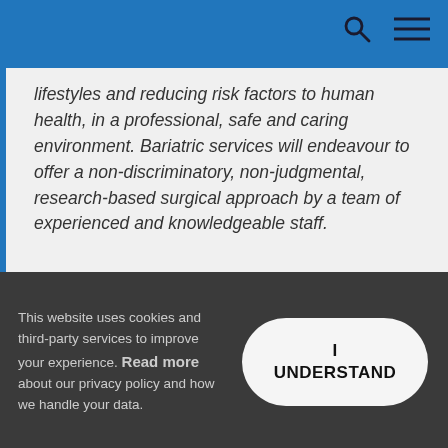lifestyles and reducing risk factors to human health, in a professional, safe and caring environment. Bariatric services will endeavour to offer a non-discriminatory, non-judgmental, research-based surgical approach by a team of experienced and knowledgeable staff.
This website uses cookies and third-party services to improve your experience. Read more about our privacy policy and how we handle your data.
I UNDERSTAND